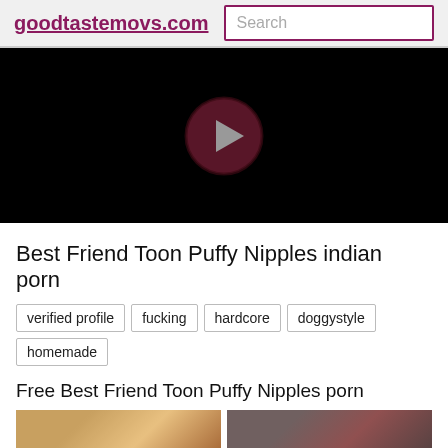goodtastemovs.com | Search
[Figure (other): Black video player with a dark red/maroon circular play button in the center]
Best Friend Toon Puffy Nipples indian porn
verified profile
fucking
hardcore
doggystyle
homemade
Free Best Friend Toon Puffy Nipples porn
[Figure (photo): Two thumbnail images of video content side by side]